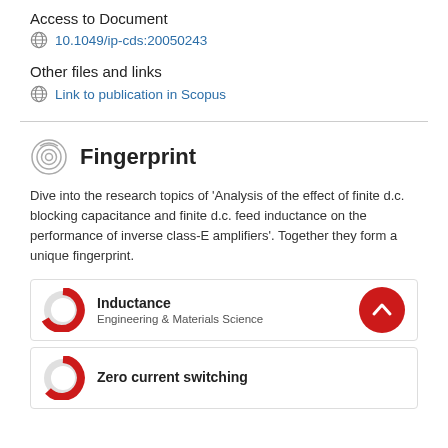Access to Document
10.1049/ip-cds:20050243
Other files and links
Link to publication in Scopus
Fingerprint
Dive into the research topics of 'Analysis of the effect of finite d.c. blocking capacitance and finite d.c. feed inductance on the performance of inverse class-E amplifiers'. Together they form a unique fingerprint.
Inductance
Engineering & Materials Science
Zero current switching